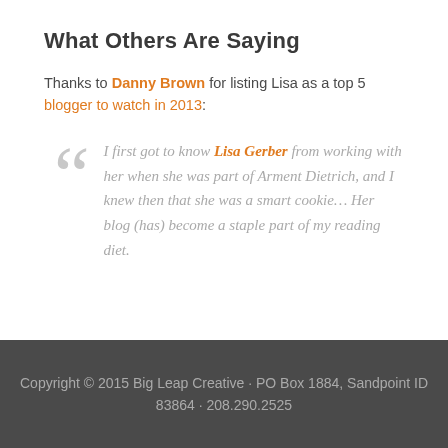What Others Are Saying
Thanks to Danny Brown for listing Lisa as a top 5 blogger to watch in 2013:
I first got to know Lisa Gerber from working with her when she was part of Arment Dietrich, and I knew then that she was a smart cookie… Her blog (has) become a staple part of my reading diet.
Copyright © 2015 Big Leap Creative · PO Box 1884, Sandpoint ID 83864 · 208.290.2525